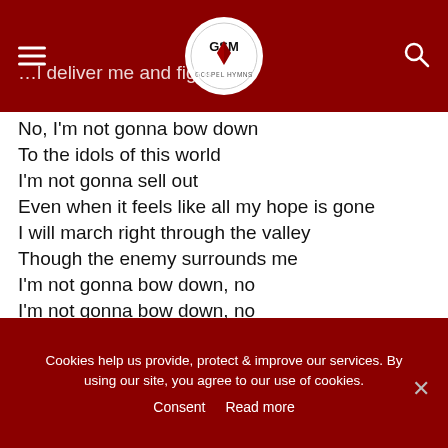[Figure (logo): Gospel Hymns website header with hamburger menu icon on left, circular GSM Gospel Hymns logo in center, and search icon on right, all on dark red background]
…l deliver me and fight f
No, I'm not gonna bow down
To the idols of this world
I'm not gonna sell out
Even when it feels like all my hope is gone
I will march right through the valley
Though the enemy surrounds me
I'm not gonna bow down, no
I'm not gonna bow down, no
What could stand against me?
What could stand against me?
What could stand against me?
Cookies help us provide, protect & improve our services. By using our site, you agree to our use of cookies. Consent Read more